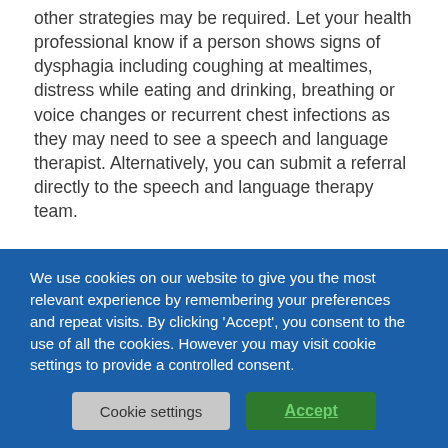other strategies may be required. Let your health professional know if a person shows signs of dysphagia including coughing at mealtimes, distress while eating and drinking, breathing or voice changes or recurrent chest infections as they may need to see a speech and language therapist. Alternatively, you can submit a referral directly to the speech and language therapy team.
During the end stages of dementia (the last few
We use cookies on our website to give you the most relevant experience by remembering your preferences and repeat visits. By clicking 'Accept', you consent to the use of all the cookies. However you may visit cookie settings to provide a controlled consent.